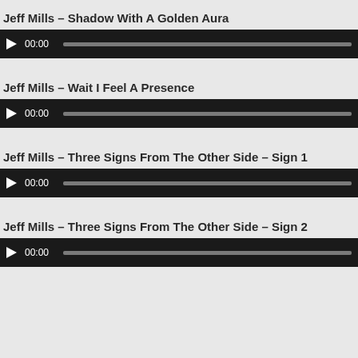Jeff Mills – Shadow With A Golden Aura
[Figure (screenshot): Audio player bar with play button, 00:00 timestamp, and progress bar]
Jeff Mills – Wait I Feel A Presence
[Figure (screenshot): Audio player bar with play button, 00:00 timestamp, and progress bar]
Jeff Mills – Three Signs From The Other Side – Sign 1
[Figure (screenshot): Audio player bar with play button, 00:00 timestamp, and progress bar]
Jeff Mills – Three Signs From The Other Side – Sign 2
[Figure (screenshot): Audio player bar with play button, 00:00 timestamp, and progress bar]